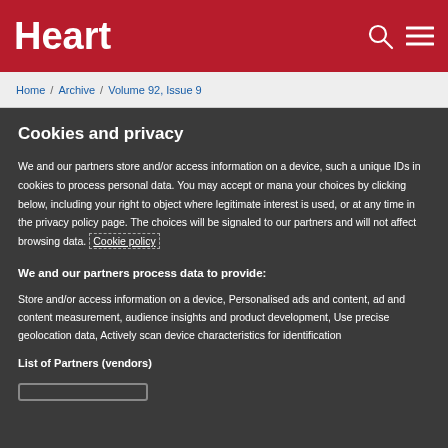Heart
Home / Archive / Volume 92, Issue 9
Cookies and privacy
We and our partners store and/or access information on a device, such as unique IDs in cookies to process personal data. You may accept or manage your choices by clicking below, including your right to object where legitimate interest is used, or at any time in the privacy policy page. These choices will be signaled to our partners and will not affect browsing data. Cookie policy
We and our partners process data to provide:
Store and/or access information on a device, Personalised ads and content, ad and content measurement, audience insights and product development, Use precise geolocation data, Actively scan device characteristics for identification
List of Partners (vendors)